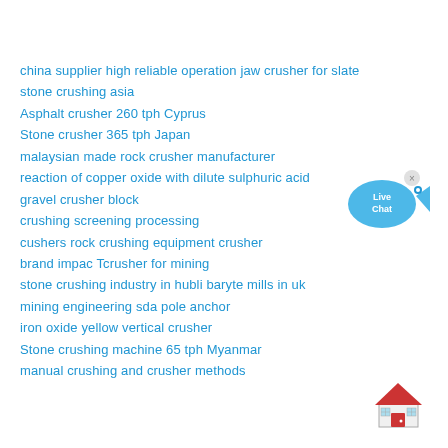china supplier high reliable operation jaw crusher for slate
stone crushing asia
Asphalt crusher 260 tph Cyprus
Stone crusher 365 tph Japan
malaysian made rock crusher manufacturer
reaction of copper oxide with dilute sulphuric acid
gravel crusher block
crushing screening processing
cushers rock crushing equipment crusher
brand impac Tcrusher for mining
stone crushing industry in hubli baryte mills in uk
mining engineering sda pole anchor
iron oxide yellow vertical crusher
Stone crushing machine 65 tph Myanmar
manual crushing and crusher methods
[Figure (illustration): Live Chat button - blue speech bubble with fish icon and 'Live Chat' text]
[Figure (illustration): House icon - red and white house illustration]